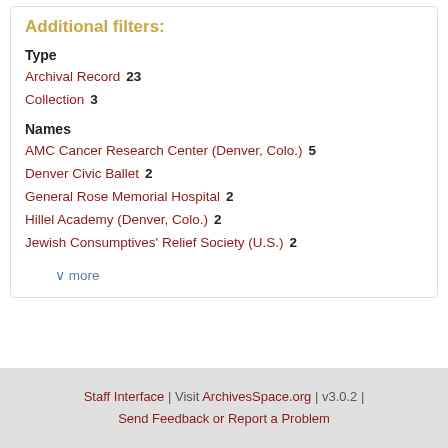Additional filters:
Type
Archival Record  23
Collection  3
Names
AMC Cancer Research Center (Denver, Colo.)  5
Denver Civic Ballet  2
General Rose Memorial Hospital  2
Hillel Academy (Denver, Colo.)  2
Jewish Consumptives' Relief Society (U.S.)  2
∨ more
Staff Interface | Visit ArchivesSpace.org | v3.0.2 | Send Feedback or Report a Problem